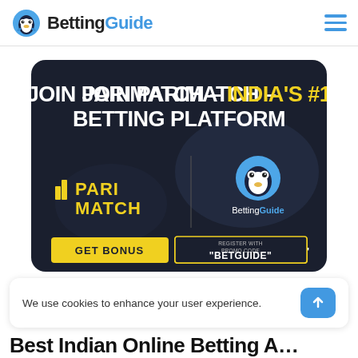BettingGuide
[Figure (illustration): Parimatch promotional banner: dark background, bold white text 'JOIN PARIMATCH – INDIA'S #1 BETTING PLATFORM', Parimatch yellow logo on left, BettingGuide penguin mascot logo on right, yellow GET BONUS button, promo code box with REGISTER WITH PROMO CODE 'BETGUIDE']
We use cookies to enhance your user experience.
Best Indian Online Betting A...